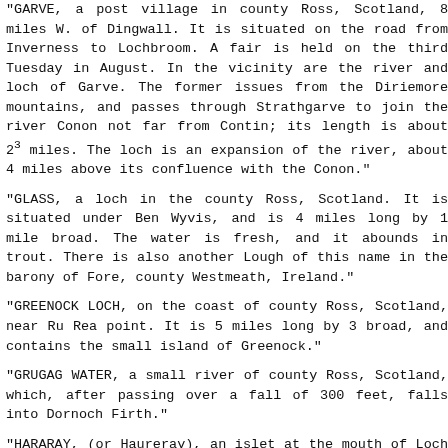"GARVE, a post village in county Ross, Scotland, 8 miles W. of Dingwall. It is situated on the road from Inverness to Lochbroom. A fair is held on the third Tuesday in August. In the vicinity are the river and loch of Garve. The former issues from the Diriemore mountains, and passes through Strathgarve to join the river Conon not far from Contin; its length is about 23 miles. The loch is an expansion of the river, about 4 miles above its confluence with the Conon."
"GLASS, a loch in the county Ross, Scotland. It is situated under Ben Wyvis, and is 4 miles long by 1 mile broad. The water is fresh, and it abounds in trout. There is also another Lough of this name in the barony of Fore, county Westmeath, Ireland."
"GREENOCK LOCH, on the coast of county Ross, Scotland, near Ru Rea point. It is 5 miles long by 3 broad, and contains the small island of Greenock."
"GRUGAG WATER, a small river of county Ross, Scotland, which, after passing over a fall of 300 feet, falls into Dornoch Firth."
"HARARAY, (or Haureray), an islet at the mouth of Loch Broom, county Ross, Scotland, 5 miles S. of Ru More."